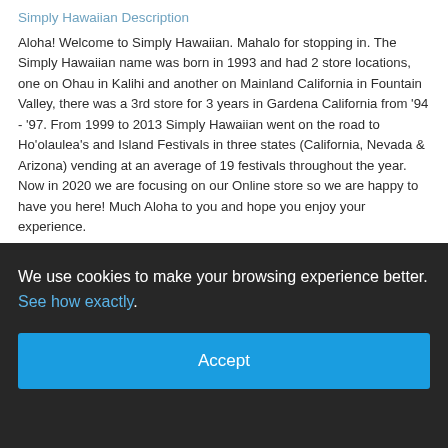Simply Hawaiian Description
Aloha! Welcome to Simply Hawaiian. Mahalo for stopping in. The Simply Hawaiian name was born in 1993 and had 2 store locations, one on Ohau in Kalihi and another on Mainland California in Fountain Valley, there was a 3rd store for 3 years in Gardena California from '94 - '97. From 1999 to 2013 Simply Hawaiian went on the road to Ho'olaulea's and Island Festivals in three states (California, Nevada & Arizona) vending at an average of 19 festivals throughout the year. Now in 2020 we are focusing on our Online store so we are happy to have you here! Much Aloha to you and hope you enjoy your experience.
We use cookies to make your browsing experience better. See how exactly.
Accept